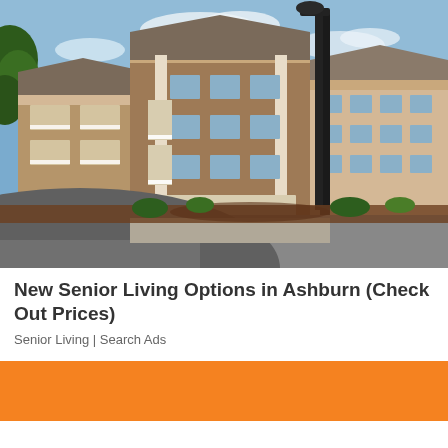[Figure (photo): Exterior photo of a multi-story brick and siding apartment/senior living complex with white balcony railings, a parking lot, landscaping with mulch beds, and a street lamp under a blue sky.]
New Senior Living Options in Ashburn (Check Out Prices)
Senior Living | Search Ads
[Figure (other): Orange/amber colored rectangular block (advertisement banner area)]